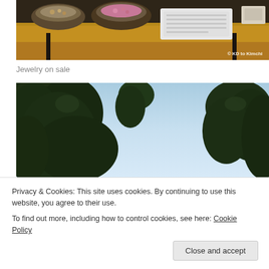[Figure (photo): Photo of a wooden table with decorative bowls containing jewelry and a white tray/keyboard, watermarked '© KD to Kimchi']
Jewelry on sale
[Figure (photo): Photo looking up at trees against a light blue sky]
Privacy & Cookies: This site uses cookies. By continuing to use this website, you agree to their use.
To find out more, including how to control cookies, see here: Cookie Policy
Close and accept